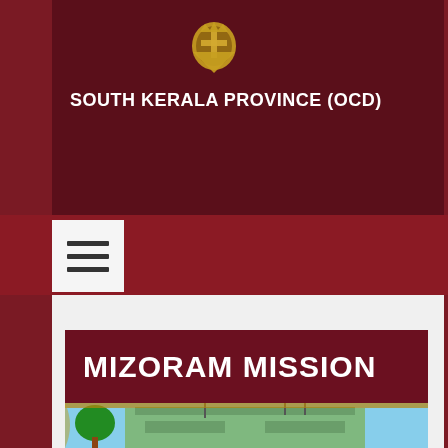SOUTH KERALA PROVINCE (OCD)
[Figure (logo): South Kerala Province OCD emblem/crest logo in gold/brown tones]
MIZORAM MISSION
[Figure (photo): Photograph of a building with green painted walls, concrete balconies, antennas on rooftop, and a tree visible in background under blue sky, framed with ornate border]